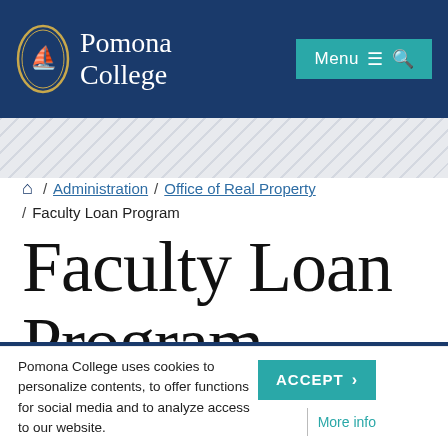Pomona College | Menu
Home / Administration / Office of Real Property / Faculty Loan Program
Faculty Loan Program
Pomona College uses cookies to personalize contents, to offer functions for social media and to analyze access to our website.